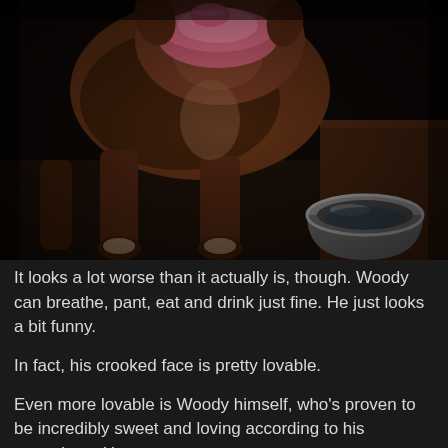[Figure (photo): A brown pitbull-type dog with a pink bandana/wrap around its face/snout, standing on a wooden surface with a stainless steel water bowl visible to the right. The image is dark with low lighting.]
It looks a lot worse than it actually is, though. Woody can breathe, pant, eat and drink just fine. He just looks a bit funny.
In fact, his crooked face is pretty lovable.
Even more lovable is Woody himself, who's proven to be incredibly sweet and loving according to his caretakers. He